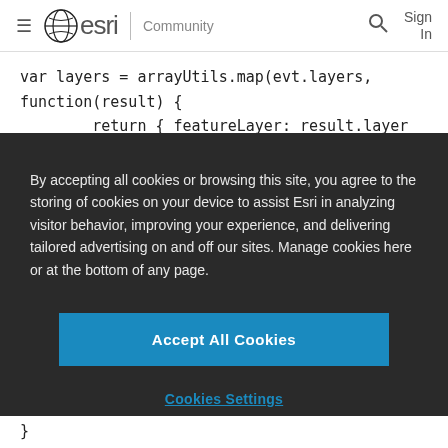esri | Community  Sign In
var layers = arrayUtils.map(evt.layers, function(result) {
            return { featureLayer: result.layer };
        });
By accepting all cookies or browsing this site, you agree to the storing of cookies on your device to assist Esri in analyzing visitor behavior, improving your experience, and delivering tailored advertising on and off our sites. Manage cookies here or at the bottom of any page.
Accept All Cookies
Cookies Settings
}